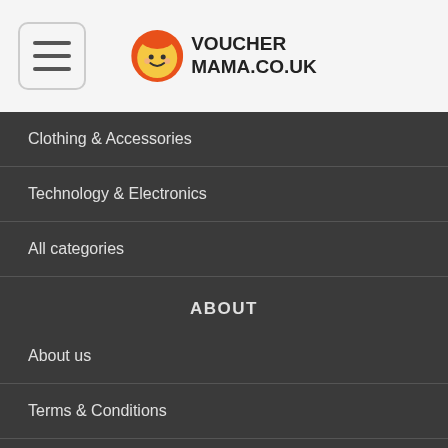[Figure (logo): VoucherMama.co.uk logo with smiling face icon and bold text]
Clothing & Accessories
Technology & Electronics
All categories
ABOUT
About us
Terms & Conditions
Privacy Policy
Blog
HOT STORES